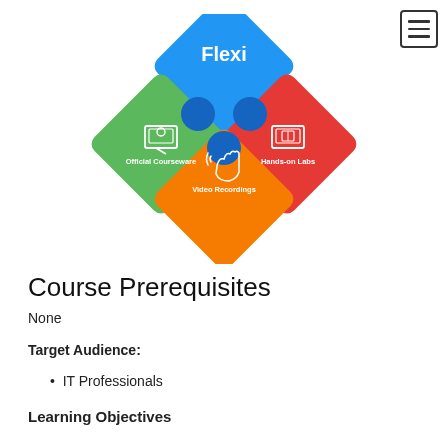[Figure (infographic): Flexi learning platform infographic showing four puzzle-piece diamond shapes: blue top piece labeled 'Flexi', green left piece labeled 'Official Courseware', red right piece labeled 'Hands-on Labs', orange bottom piece labeled 'Video Recordings']
Course Prerequisites
None
Target Audience:
IT Professionals
Learning Objectives